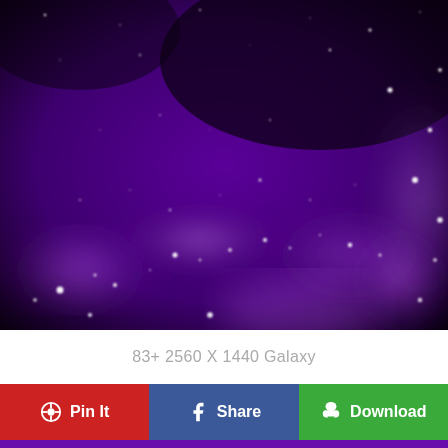[Figure (illustration): Purple galaxy space wallpaper with glowing purple nebula swirls and white star particles scattered across a deep violet-black background]
83+ 2560 X 1440 Galaxy
Pin It
Share
Download